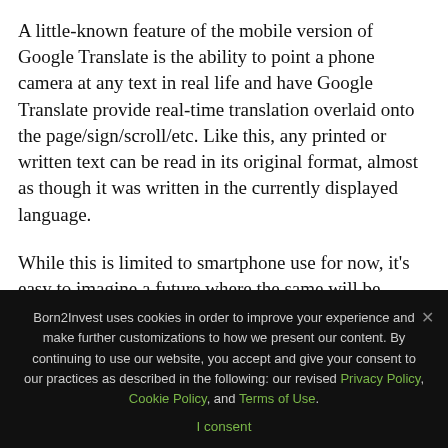A little-known feature of the mobile version of Google Translate is the ability to point a phone camera at any text in real life and have Google Translate provide real-time translation overlaid onto the page/sign/scroll/etc. Like this, any printed or written text can be read in its original format, almost as though it was written in the currently displayed language.
While this is limited to smartphone use for now, it's easy to imagine a future where the same will be possible using augmented reality smartglasses, or even contact lenses. And this may not be as far off in the future as we think. Prototype contact lens devices already exits, and
Born2Invest uses cookies in order to improve your experience and make further customizations to how we present our content. By continuing to use our website, you accept and give your consent to our practices as described in the following: our revised Privacy Policy, Cookie Policy, and Terms of Use.
I consent